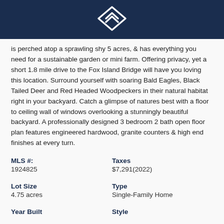[Figure (logo): White diamond/chevron logo mark on dark navy header bar]
is perched atop a sprawling shy 5 acres, & has everything you need for a sustainable garden or mini farm. Offering privacy, yet a short 1.8 mile drive to the Fox Island Bridge will have you loving this location. Surround yourself with soaring Bald Eagles, Black Tailed Deer and Red Headed Woodpeckers in their natural habitat right in your backyard. Catch a glimpse of natures best with a floor to ceiling wall of windows overlooking a stunningly beautiful backyard. A professionally designed 3 bedroom 2 bath open floor plan features engineered hardwood, granite counters & high end finishes at every turn.
| MLS #: | Taxes |
| 1924825 | $7,291(2022) |
| Lot Size | Type |
| 4.75 acres | Single-Family Home |
| Year Built | Style |